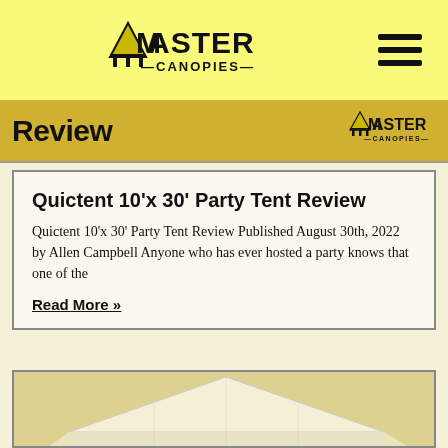[Figure (logo): Master Canopies logo with tent icon and text in yellow header bar]
Review
[Figure (logo): Small Master Canopies mini logo in review banner]
Quictent 10'x 30' Party Tent Review
Quictent 10'x 30' Party Tent Review Published August 30th, 2022 by Allen Campbell Anyone who has ever hosted a party knows that one of the
Read More »
[Figure (photo): Partial photo of a white party tent canopy against a light background]